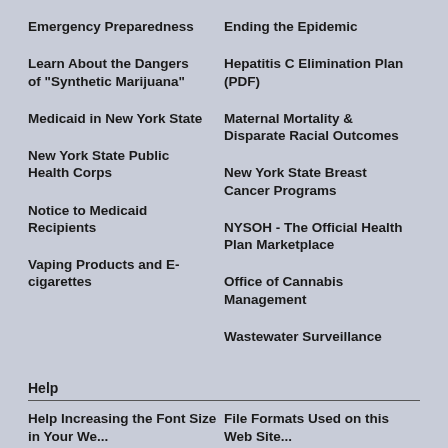Emergency Preparedness
Ending the Epidemic
Hepatitis C Elimination Plan (PDF)
Learn About the Dangers of "Synthetic Marijuana"
Maternal Mortality & Disparate Racial Outcomes
Medicaid in New York State
New York State Breast Cancer Programs
New York State Public Health Corps
NYSOH - The Official Health Plan Marketplace
Notice to Medicaid Recipients
Office of Cannabis Management
Vaping Products and E-cigarettes
Wastewater Surveillance
Help
Help Increasing the Font Size in Your Web...
File Formats Used on this Web Site...